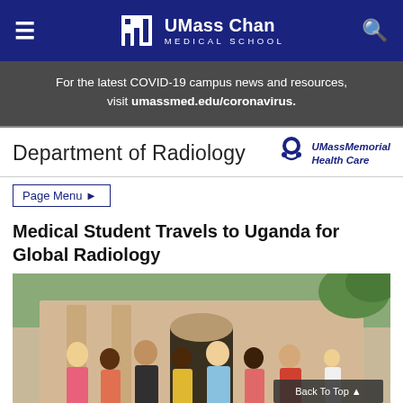UMass Chan Medical School
For the latest COVID-19 campus news and resources, visit umassmed.edu/coronavirus.
Department of Radiology
[Figure (logo): UMassMemorial Health Care logo]
Page Menu ▶
Medical Student Travels to Uganda for Global Radiology
[Figure (photo): Group photo of women standing in front of a building in Uganda, including medical professionals and local participants.]